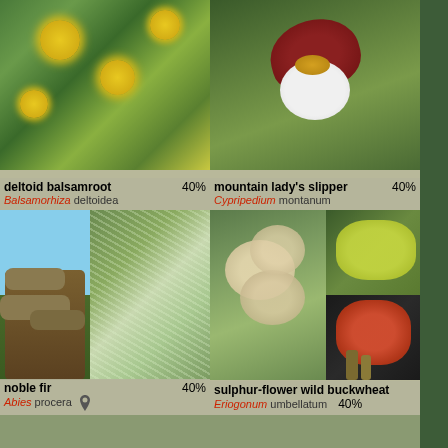[Figure (photo): Yellow daisy-like flowers with broad green leaves growing among rocks - deltoid balsamroot plant]
deltoid balsamroot 40% Balsamorhiza deltoidea
[Figure (photo): Mountain lady's slipper orchid with white pouch and dark red-brown petals against green leaves]
mountain lady's slipper 40% Cypripedium montanum
[Figure (photo): Noble fir branch with cones (left) and close-up of silvery-white fir needles (right)]
noble fir 40% Abies procera
[Figure (photo): Sulphur-flower wild buckwheat - left shows pale cream flower clusters, upper right shows yellow-green clusters, lower right shows orange-red clusters]
sulphur-flower wild buckwheat 40% Eriogonum umbellatum